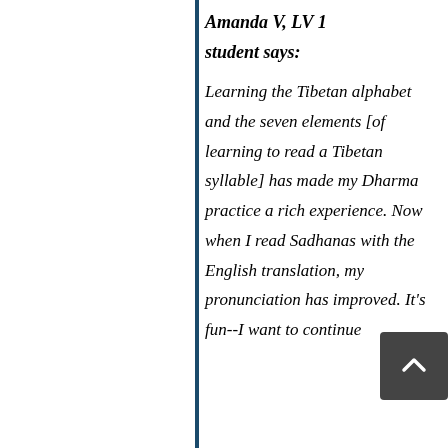Amanda V, LV 1 student says: Learning the Tibetan alphabet and the seven elements [of learning to read a Tibetan syllable] has made my Dharma practice a rich experience. Now when I read Sadhanas with the English translation, my pronunciation has improved. It's fun--I want to continue